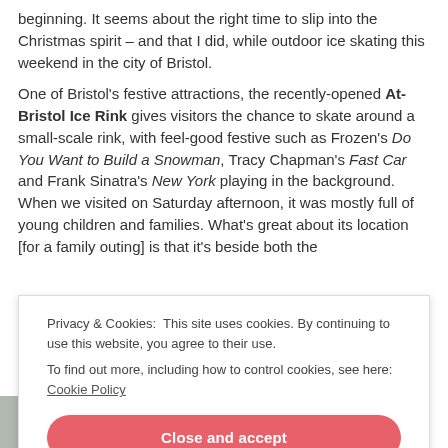beginning. It seems about the right time to slip into the Christmas spirit – and that I did, while outdoor ice skating this weekend in the city of Bristol.
One of Bristol's festive attractions, the recently-opened At-Bristol Ice Rink gives visitors the chance to skate around a small-scale rink, with feel-good festive such as Frozen's Do You Want to Build a Snowman, Tracy Chapman's Fast Car and Frank Sinatra's New York playing in the background. When we visited on Saturday afternoon, it was mostly full of young children and families. What's great about its location [for a family outing] is that it's beside both the
Privacy & Cookies: This site uses cookies. By continuing to use this website, you agree to their use.
To find out more, including how to control cookies, see here: Cookie Policy
Close and accept
[Figure (photo): Partial photo strip visible at bottom of page, gray/wintry tones]
Christmas